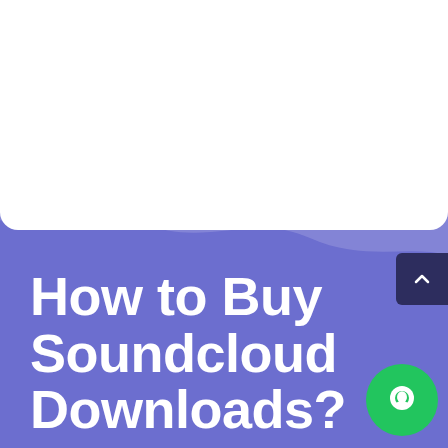[Figure (illustration): Purple/blue wave background design with white top section. Wavy decorative shapes in purple and lighter purple/lavender divide the white upper area from the deep purple-blue lower section.]
How to Buy Soundcloud Downloads?
[Figure (other): Dark navy blue 'back to top' button with upward chevron arrow, positioned at the right edge.]
[Figure (other): Green circular chat/support button with white chat bubble icon, positioned at bottom right.]